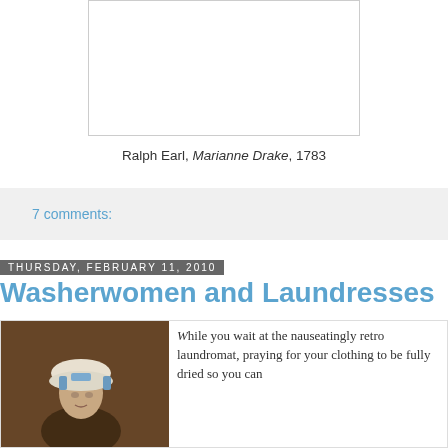[Figure (photo): White rectangular image placeholder box with a thin border, representing a portrait painting]
Ralph Earl, Marianne Drake, 1783
7 comments:
Thursday, February 11, 2010
Washerwomen and Laundresses
[Figure (photo): Portrait painting of a woman wearing a bonnet with blue ribbons, dark background, historical style]
While you wait at the nauseatingly retro laundromat, praying for your clothing to be fully dried so you can